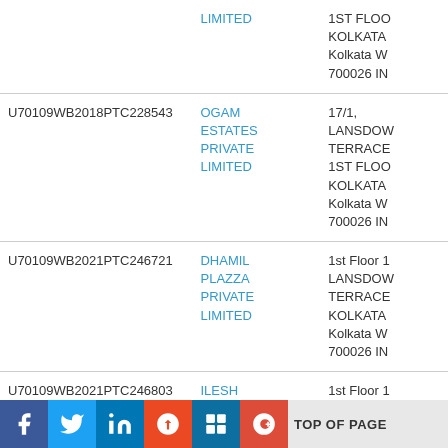| CIN | Company Name | Registered Address |
| --- | --- | --- |
|  | LIMITED | 1ST FLOOR KOLKATA Kolkata W 700026 IN |
| U70109WB2018PTC228543 | OGAM ESTATES PRIVATE LIMITED | 17/1, LANSDOWNE TERRACE 1ST FLOOR KOLKATA Kolkata W 700026 IN |
| U70109WB2021PTC246721 | DHAMIL PLAZZA PRIVATE LIMITED | 1st Floor 1 LANSDOWNE TERRACE KOLKATA Kolkata W 700026 IN |
| U70109WB2021PTC246803 | ILESH | 1st Floor 1 |
TOP OF PAGE